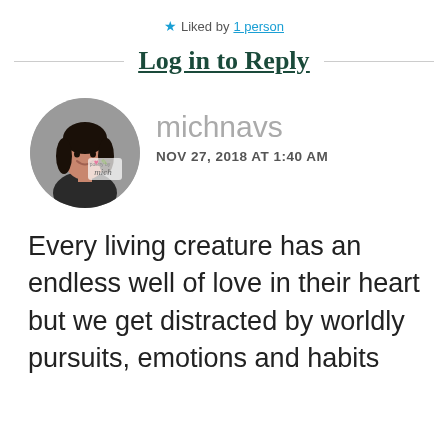★ Liked by 1 person
Log in to Reply
[Figure (photo): Circular avatar photo of a smiling woman with dark hair, wearing a dark top, on a grey background with a small logo overlay]
michnavs
NOV 27, 2018 AT 1:40 AM
Every living creature has an endless well of love in their heart but we get distracted by worldly pursuits, emotions and habits